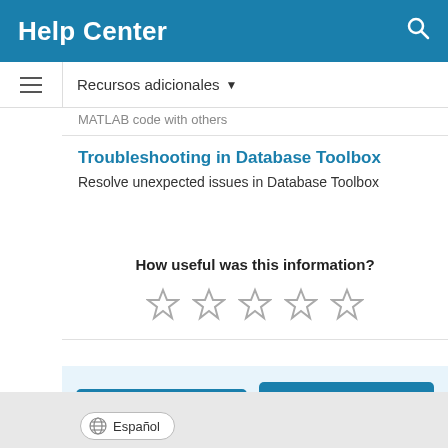Help Center
Recursos adicionales ▼
MATLAB code with others
Troubleshooting in Database Toolbox
Resolve unexpected issues in Database Toolbox
How useful was this information?
[Figure (other): Five empty star rating icons]
[Figure (other): Two buttons: Trials and Actualizaciones de productos]
Español